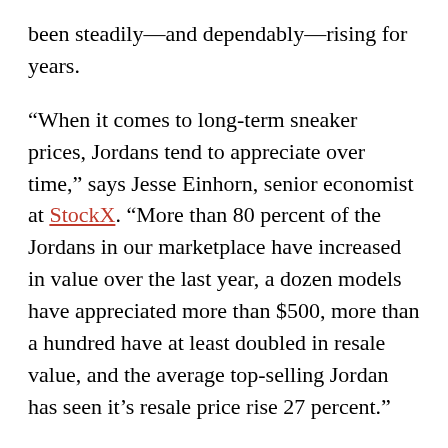been steadily—and dependably—rising for years.
“When it comes to long-term sneaker prices, Jordans tend to appreciate over time,” says Jesse Einhorn, senior economist at StockX. “More than 80 percent of the Jordans in our marketplace have increased in value over the last year, a dozen models have appreciated more than $500, more than a hundred have at least doubled in resale value, and the average top-selling Jordan has seen it’s resale price rise 27 percent.”
Plus, the majority of StockX customers are too young to have been Michael Jordan fans during his NBA career but Air Jordan is still the top-selling brand—another testament to its long-term potential.